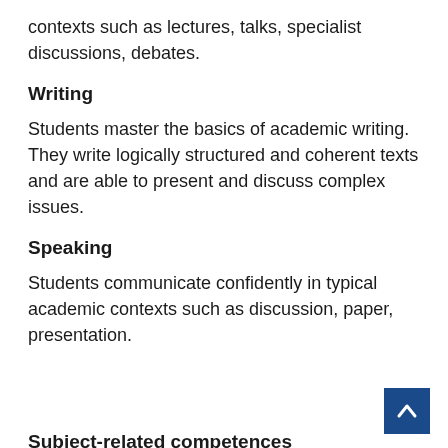contexts such as lectures, talks, specialist discussions, debates.
Writing
Students master the basics of academic writing. They write logically structured and coherent texts and are able to present and discuss complex issues.
Speaking
Students communicate confidently in typical academic contexts such as discussion, paper, presentation.
Subject-related competences
The students master the contents and methods